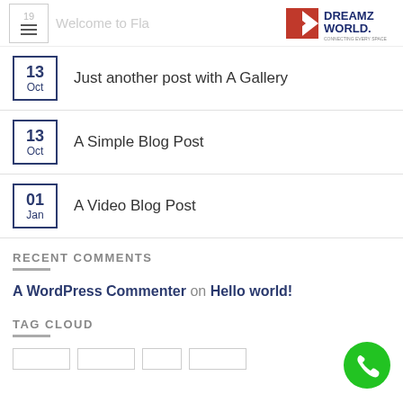Welcome to Fla... | Dreamz World
13 Oct — Just another post with A Gallery
13 Oct — A Simple Blog Post
01 Jan — A Video Blog Post
RECENT COMMENTS
A WordPress Commenter on Hello world!
TAG CLOUD